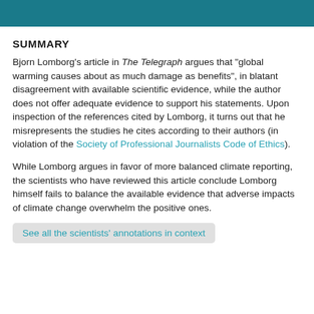SUMMARY
Bjorn Lomborg's article in The Telegraph argues that "global warming causes about as much damage as benefits", in blatant disagreement with available scientific evidence, while the author does not offer adequate evidence to support his statements. Upon inspection of the references cited by Lomborg, it turns out that he misrepresents the studies he cites according to their authors (in violation of the Society of Professional Journalists Code of Ethics).
While Lomborg argues in favor of more balanced climate reporting, the scientists who have reviewed this article conclude Lomborg himself fails to balance the available evidence that adverse impacts of climate change overwhelm the positive ones.
See all the scientists' annotations in context